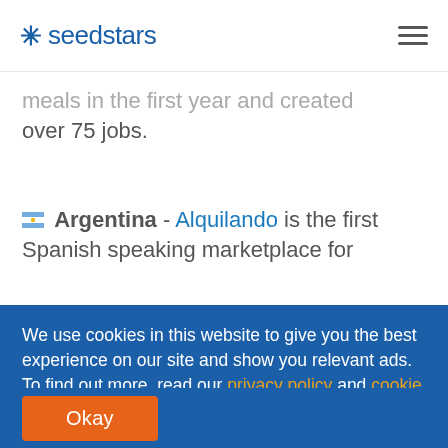* seedstars
meals in the first year and created over 75 jobs.
🇦🇷 Argentina - Alquilando is the first Spanish speaking marketplace for
We use cookies in this website to give you the best experience on our site and show you relevant ads. To find out more, read our privacy policy and cookie policy.
Okay